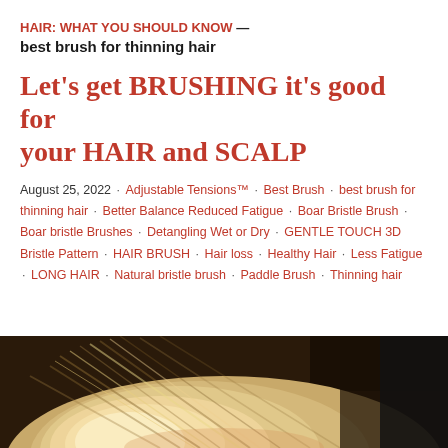HAIR: WHAT YOU SHOULD KNOW — best brush for thinning hair
Let's get BRUSHING it's good for your HAIR and SCALP
August 25, 2022 · Adjustable Tensions™ · Best Brush · best brush for thinning hair · Better Balance Reduced Fatigue · Boar Bristle Brush · Boar bristle Brushes · Detangling Wet or Dry · GENTLE TOUCH 3D Bristle Pattern · HAIR BRUSH · Hair loss · Healthy Hair · Less Fatigue · LONG HAIR · Natural bristle brush · Paddle Brush · Thinning hair
[Figure (photo): Close-up photo of a person with light blonde hair being brushed, dark background visible at top right]